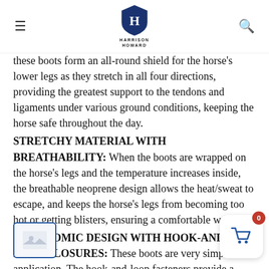Harrison Howard
these boots form an all-round shield for the horse's lower legs as they stretch in all four directions, providing the greatest support to the tendons and ligaments under various ground conditions, keeping the horse safe throughout the day.
STRETCHY MATERIAL WITH BREATHABILITY: When the boots are wrapped on the horse's legs and the temperature increases inside, the breathable neoprene design allows the heat/sweat to escape, and keeps the horse's legs from becoming too hot or getting blisters, ensuring a comfortable wearing.
ERGONOMIC DESIGN WITH HOOK-AND-LOOP CLOSURES: These boots are very simple in application. The hook-and-loop fasteners provide a complete and fastening to secure them in place, combing with the edge reinforcements to keep out the dirt and debris.